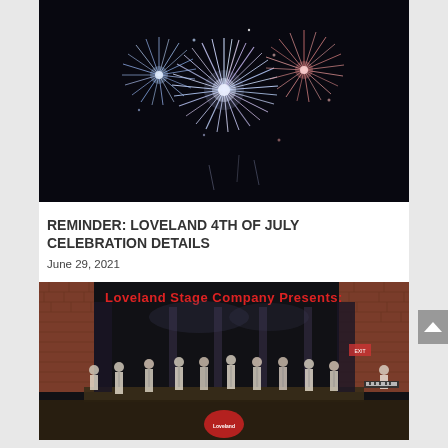[Figure (photo): Fireworks display against a dark night sky — blue, red, pink and white bursting fireworks]
REMINDER: LOVELAND 4TH OF JULY CELEBRATION DETAILS
June 29, 2021
[Figure (photo): Theater stage with performers standing in a line on stage. Text at the top reads 'Loveland Stage Company Presents:' in red letters. Brick wall background, keyboard player on the right.]